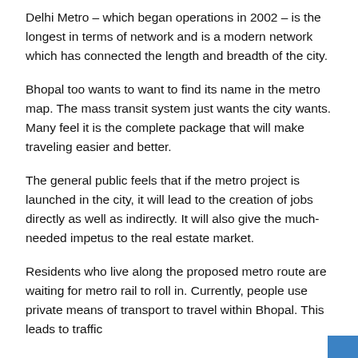Delhi Metro – which began operations in 2002 – is the longest in terms of network and is a modern network which has connected the length and breadth of the city.
Bhopal too wants to want to find its name in the metro map. The mass transit system just wants the city wants. Many feel it is the complete package that will make traveling easier and better.
The general public feels that if the metro project is launched in the city, it will lead to the creation of jobs directly as well as indirectly. It will also give the much-needed impetus to the real estate market.
Residents who live along the proposed metro route are waiting for metro rail to roll in. Currently, people use private means of transport to travel within Bhopal. This leads to traffic